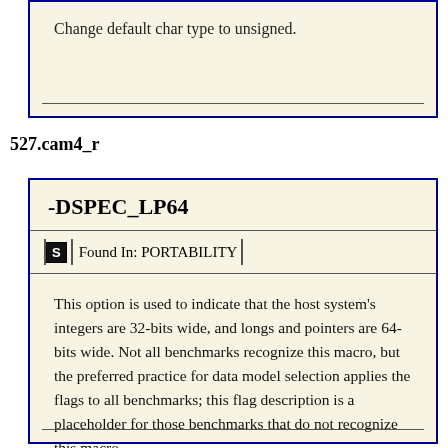Change default char type to unsigned.
527.cam4_r
-DSPEC_LP64
Found In: PORTABILITY
This option is used to indicate that the host system's integers are 32-bits wide, and longs and pointers are 64-bits wide. Not all benchmarks recognize this macro, but the preferred practice for data model selection applies the flags to all benchmarks; this flag description is a placeholder for those benchmarks that do not recognize this macro.